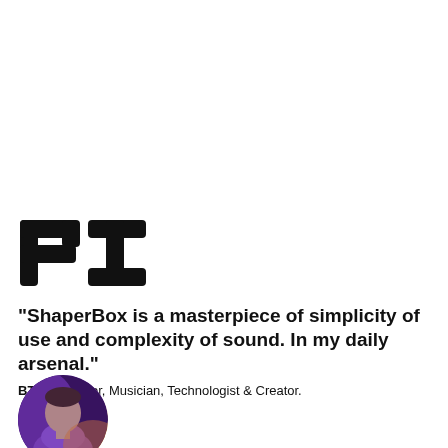[Figure (logo): BT logo in black, stylized lowercase 'bt' lettering]
"ShaperBox is a masterpiece of simplicity of use and complexity of sound. In my daily arsenal."
BT. Composer, Musician, Technologist & Creator.
[Figure (photo): Circular portrait photo of a person wearing a purple/lavender top, lit dramatically]